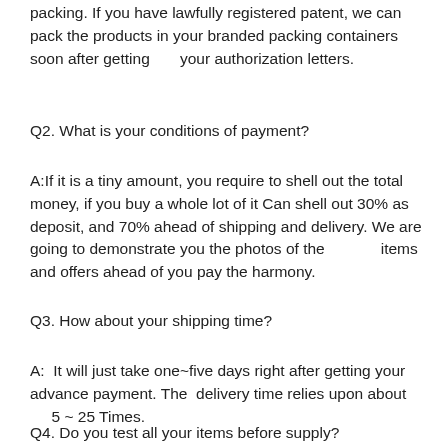packing. If you have lawfully registered patent, we can pack the products in your branded packing containers soon after getting       your authorization letters.
Q2. What is your conditions of payment?
A:If it is a tiny amount, you require to shell out the total money, if you buy a whole lot of it Can shell out 30% as deposit, and 70% ahead of shipping and delivery. We are going to demonstrate you the photos of the               items and offers ahead of you pay the harmony.
Q3. How about your shipping time?
A:  It will just take one~five days right after getting your advance payment. The  delivery time relies upon about        5 ~ 25 Times.
Q4. Do you test all your items before supply?